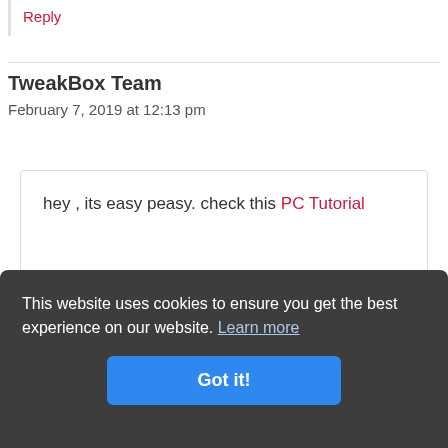Reply
TweakBox Team
February 7, 2019 at 12:13 pm
hey , its easy peasy. check this PC Tutorial
This website uses cookies to ensure you get the best experience on our website. Learn more
Got it!